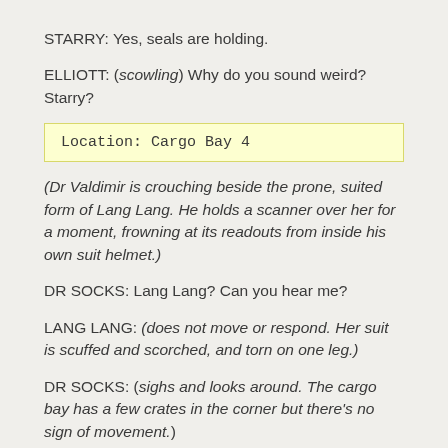STARRY: Yes, seals are holding.
ELLIOTT: (scowling) Why do you sound weird? Starry?
Location: Cargo Bay 4
(Dr Valdimir is crouching beside the prone, suited form of Lang Lang. He holds a scanner over her for a moment, frowning at its readouts from inside his own suit helmet.)
DR SOCKS: Lang Lang? Can you hear me?
LANG LANG: (does not move or respond. Her suit is scuffed and scorched, and torn on one leg.)
DR SOCKS: (sighs and looks around. The cargo bay has a few crates in the corner but there's no sign of movement.)